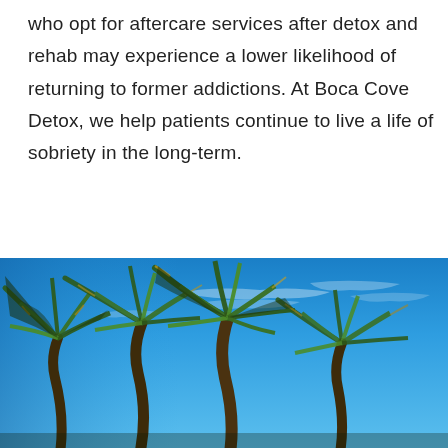who opt for aftercare services after detox and rehab may experience a lower likelihood of returning to former addictions. At Boca Cove Detox, we help patients continue to live a life of sobriety in the long-term.
[Figure (photo): Photograph of palm trees with golden-green fronds against a bright blue sky with wispy clouds, viewed from below looking up.]